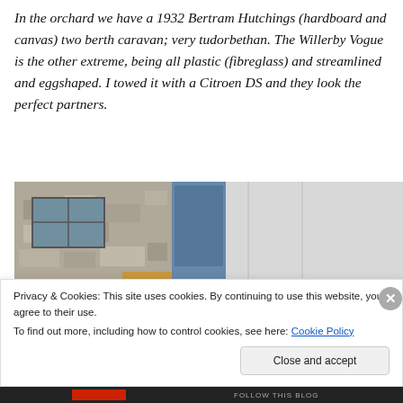In the orchard we have a 1932 Bertram Hutchings (hardboard and canvas) two berth caravan; very tudorbethan. The Willerby Vogue is the other extreme, being all plastic (fibreglass) and streamlined and eggshaped. I towed it with a Citroen DS and they look the perfect partners.
[Figure (photo): Photograph of a stone building exterior with blue door/shutters, brick detail, and a car partially visible at the bottom]
Privacy & Cookies: This site uses cookies. By continuing to use this website, you agree to their use.
To find out more, including how to control cookies, see here: Cookie Policy